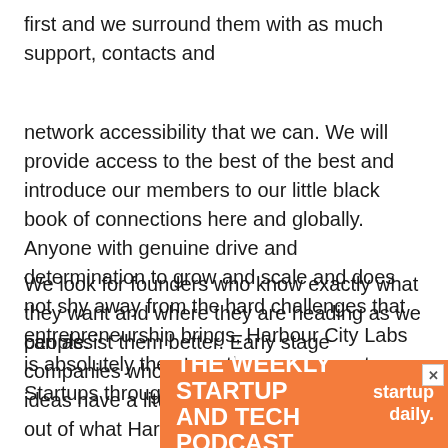first and we surround them with as much support, contacts and
network accessibility that we can. We will provide access to the best of the best and introduce our members to our little black book of connections here and globally. Anyone with genuine drive and determination to grow and scale and does not shy away from the hard challenges that entrepreneurship brings, Harbour City Labs is absolutely the place that can support Startups through that.
We look for founders who know exactly what they want and where they are heading as we can assist them better. Early stage companies who are still road testing new ideas have a little way to go to get the most out of what Harbour City Labs offers but there always opportunities to lean mo[re] people.
[Figure (infographic): Advertisement banner for 'The Weekly Startup and Tech Podcast' by Startup Daily, orange background with white text and a close button.]